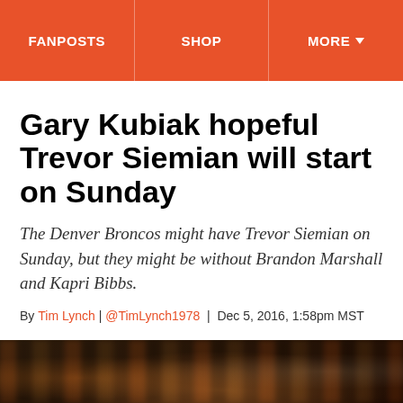FANPOSTS | SHOP | MORE
Gary Kubiak hopeful Trevor Siemian will start on Sunday
The Denver Broncos might have Trevor Siemian on Sunday, but they might be without Brandon Marshall and Kapri Bibbs.
By Tim Lynch | @TimLynch1978 | Dec 5, 2016, 1:58pm MST
[Figure (screenshot): Social share bar with Facebook, Twitter, and share link icons]
[Figure (photo): Blurred crowd photo with orange Denver Broncos colors in background]